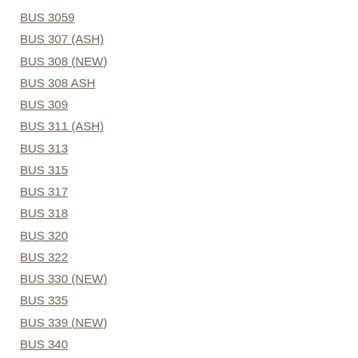BUS 3059
BUS 307 (ASH)
BUS 308 (NEW)
BUS 308 ASH
BUS 309
BUS 311 (ASH)
BUS 313
BUS 315
BUS 317
BUS 318
BUS 320
BUS 322
BUS 330 (NEW)
BUS 335
BUS 339 (NEW)
BUS 340
BUS 343
BUS 352 (ASH)
BUS 363